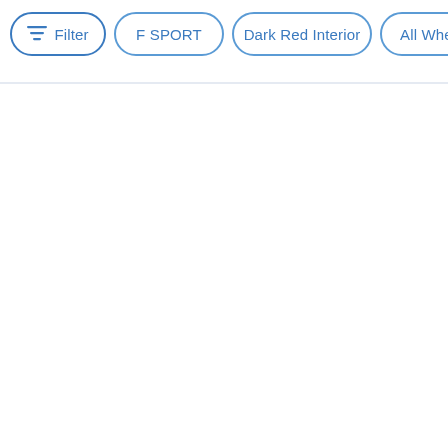Filter
F SPORT
Dark Red Interior
All Wheel Drive